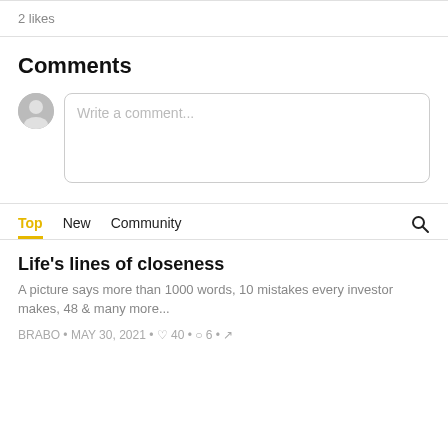2 likes
Comments
Write a comment...
Top   New   Community
Life's lines of closeness
A picture says more than 1000 words, 10 mistakes every investor makes, 48 & many more...
BRABO • MAY 30, 2021 • 40 • 6 •